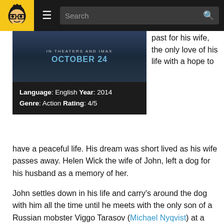Navigation bar with logo, hamburger menu, and search
[Figure (screenshot): Movie poster area showing 'IN THEATERS AND IMAX OCTOBER 24' text on dark background]
| Language: English Year: 2014 | Genre: Action Rating: 4/5 |
past for his wife, the only love of his life with a hope to have a peaceful life. His dream was short lived as his wife passes away. Helen Wick the wife of John, left a dog for his husband as a memory of her.
John settles down in his life and carry's around the dog with him all the time until he meets with the only son of a Russian mobster Viggo Tarasov (Michael Nyqvist) at a gas station. Impressed by the Car of John, Iosef Tarasov (Alfie Allen), the son of the mobster asks for the price of the car but John denies to sell his car. Iosef let John go only to hit him back at his own residence to steal the car and kills his dog